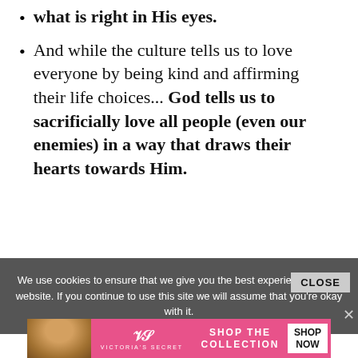what is right in His eyes.
And while the culture tells us to love everyone by being kind and affirming their life choices... God tells us to sacrificially love all people (even our enemies) in a way that draws their hearts towards Him.
More to come...
We use cookies to ensure that we give you the best experience on our website. If you continue to use this site we will assume that you're okay with it.
[Figure (infographic): Victoria's Secret advertisement banner with model photo, VS logo, 'SHOP THE COLLECTION' text, and 'SHOP NOW' button]